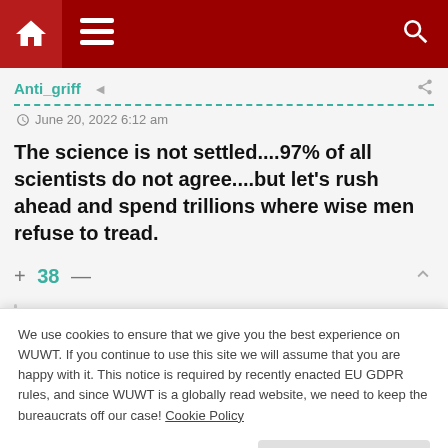Navigation bar with home, menu, and search icons
Anti_griff
June 20, 2022 6:12 am
The science is not settled....97% of all scientists do not agree....but let's rush ahead and spend trillions where wise men refuse to tread.
+ 38 —
Dennis
We use cookies to ensure that we give you the best experience on WUWT. If you continue to use this site we will assume that you are happy with it. This notice is required by recently enacted EU GDPR rules, and since WUWT is a globally read website, we need to keep the bureaucrats off our case! Cookie Policy
Close and accept
Copenhagen Conference: Climate Gate 1 and 2 exchanged